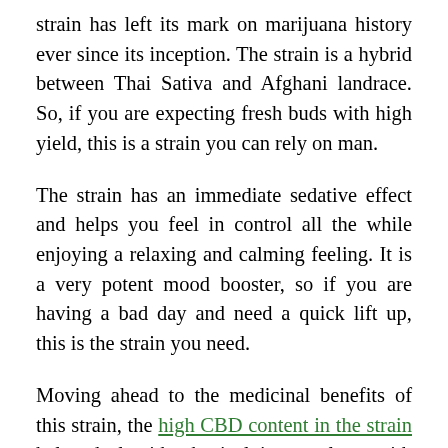strain has left its mark on marijuana history ever since its inception. The strain is a hybrid between Thai Sativa and Afghani landrace. So, if you are expecting fresh buds with high yield, this is a strain you can rely on man.
The strain has an immediate sedative effect and helps you feel in control all the while enjoying a relaxing and calming feeling. It is a very potent mood booster, so if you are having a bad day and need a quick lift up, this is the strain you need.
Moving ahead to the medicinal benefits of this strain, the high CBD content in the strain helps deal with physical issues along with helping recover from a range of mental health struggles, including PTSD and OCD.